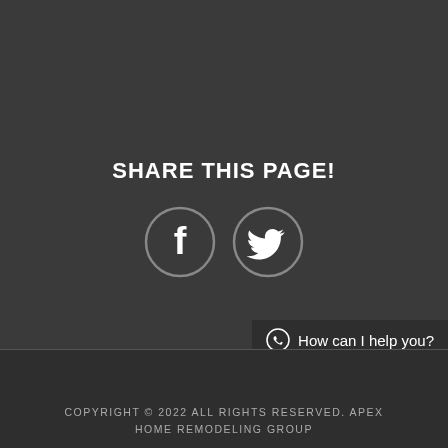SHARE THIS PAGE!
[Figure (illustration): Two circular social media icons: Facebook (letter F) and Twitter (bird) with dark circle borders on dark background]
How can I help you?
COPYRIGHT © 2022 ALL RIGHTS RESERVED. APEX HOME REMODELING GROUP